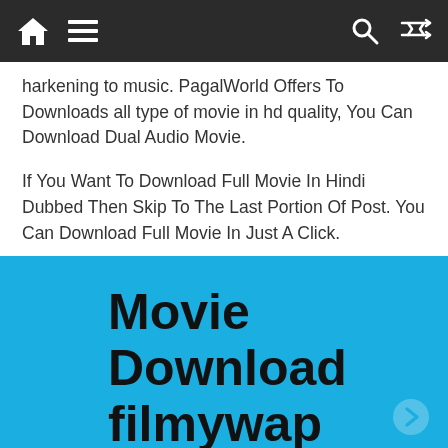[Navigation bar with home, menu, search, and shuffle icons]
harkening to music. PagalWorld Offers To Downloads all type of movie in hd quality, You Can Download Dual Audio Movie.
If You Want To Download Full Movie In Hindi Dubbed Then Skip To The Last Portion Of Post. You Can Download Full Movie In Just A Click.
[Figure (infographic): Blue banner with bold black text reading 'Movie Download filmywap']